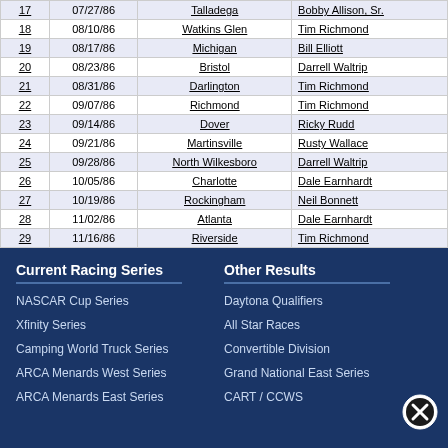| # | Date | Track | Winner |
| --- | --- | --- | --- |
| 17 | 07/27/86 | Talladega | Bobby Allison, Sr. |
| 18 | 08/10/86 | Watkins Glen | Tim Richmond |
| 19 | 08/17/86 | Michigan | Bill Elliott |
| 20 | 08/23/86 | Bristol | Darrell Waltrip |
| 21 | 08/31/86 | Darlington | Tim Richmond |
| 22 | 09/07/86 | Richmond | Tim Richmond |
| 23 | 09/14/86 | Dover | Ricky Rudd |
| 24 | 09/21/86 | Martinsville | Rusty Wallace |
| 25 | 09/28/86 | North Wilkesboro | Darrell Waltrip |
| 26 | 10/05/86 | Charlotte | Dale Earnhardt |
| 27 | 10/19/86 | Rockingham | Neil Bonnett |
| 28 | 11/02/86 | Atlanta | Dale Earnhardt |
| 29 | 11/16/86 | Riverside | Tim Richmond |
NTT = No Time Trials; DFP = Drew For Pole; MQ = Metric Qualifying
Current Racing Series
Other Results
NASCAR Cup Series
Xfinity Series
Camping World Truck Series
ARCA Menards West Series
ARCA Menards East Series
Daytona Qualifiers
All Star Races
Convertible Division
Grand National East Series
CART / CCWS